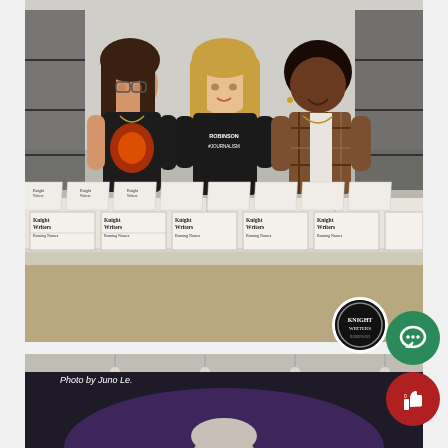[Figure (photo): Three teenage girls smiling behind a table covered with multiple copies of the Knight Writers school newspaper. The middle girl wears a Robinson Journalism shirt. They are in a classroom/library setting.]
[Figure (photo): Partial view of a person standing in front of a dark curtain background, with purple stage lighting. Photo credit reads 'Photo by Juno Le.']
Photo by Juno Le.